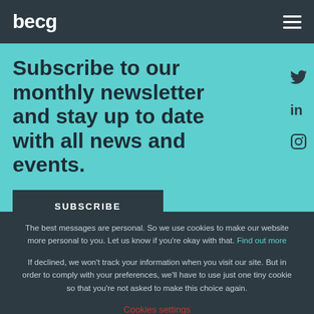becg
Subscribe to our monthly newsletter and stay up to date with all news and events.
SUBSCRIBE
The best messages are personal. So we use cookies to make our website more personal to you. Let us know if you're okay with that. Find out more
If declined, we won't track your information when you visit our site. But in order to comply with your preferences, we'll have to use just one tiny cookie so that you're not asked to make this choice again.
Cookies settings
I'm cool with the cookies
I'd rather go cookie-less